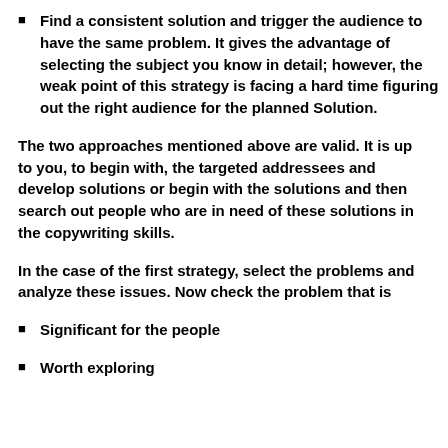Find a consistent solution and trigger the audience to have the same problem. It gives the advantage of selecting the subject you know in detail; however, the weak point of this strategy is facing a hard time figuring out the right audience for the planned Solution.
The two approaches mentioned above are valid. It is up to you, to begin with, the targeted addressees and develop solutions or begin with the solutions and then search out people who are in need of these solutions in the copywriting skills.
In the case of the first strategy, select the problems and analyze these issues. Now check the problem that is
Significant for the people
Worth exploring